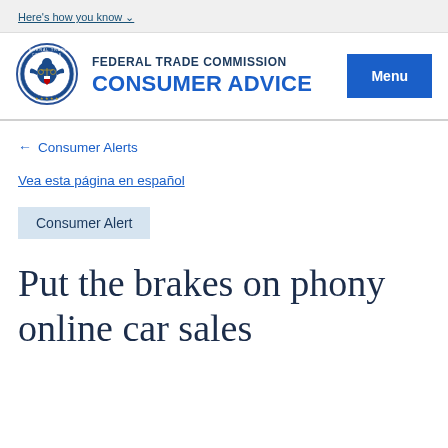Here's how you know
[Figure (logo): Federal Trade Commission seal/logo, circular blue emblem with scales of justice]
FEDERAL TRADE COMMISSION CONSUMER ADVICE
← Consumer Alerts
Vea esta página en español
Consumer Alert
Put the brakes on phony online car sales